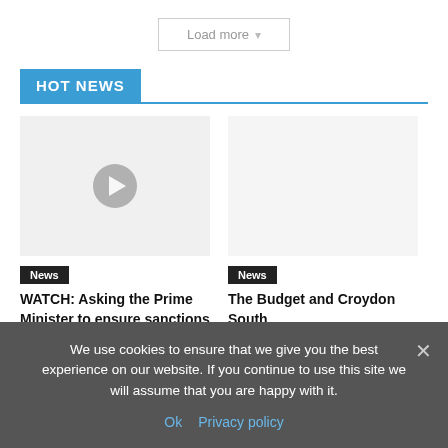Load more ▾
HOT NEWS
[Figure (other): Thumbnail image area for a news video with a play button icon overlaid in the center]
News
WATCH: Asking the Prime Minister to ensure sanctions against Russia
[Figure (other): Thumbnail image area for a news article]
News
The Budget and Croydon South
We use cookies to ensure that we give you the best experience on our website. If you continue to use this site we will assume that you are happy with it.
Ok   Privacy policy